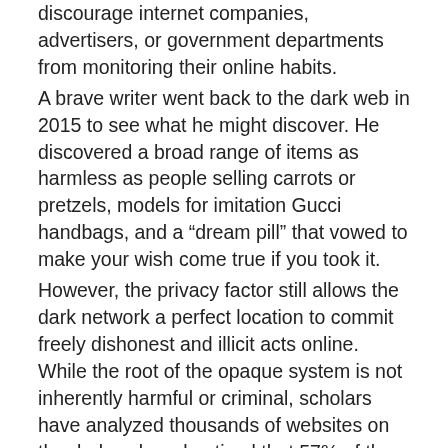discourage internet companies, advertisers, or government departments from monitoring their online habits.
A brave writer went back to the dark web in 2015 to see what he might discover. He discovered a broad range of items as harmless as people selling carrots or pretzels, models for imitation Gucci handbags, and a “dream pill” that vowed to make your wish come true if you took it.
However, the privacy factor still allows the dark network a perfect location to commit freely dishonest and illicit acts online. While the root of the opaque system is not inherently harmful or criminal, scholars have analyzed thousands of websites on the dark web and noticed that 57% of them housed some sort of unauthorized content.
Why do you take note of the Dark Web?